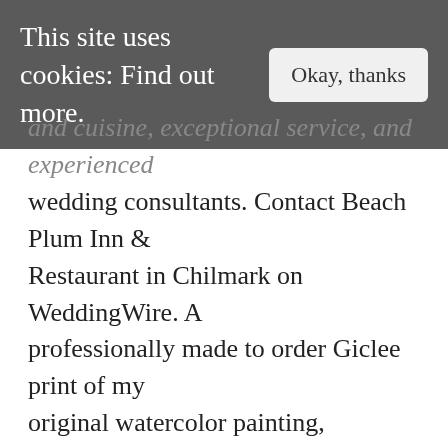This site uses cookies: Find out more.
and cuisine, exceptional service, and experienced wedding consultants. Contact Beach Plum Inn & Restaurant in Chilmark on WeddingWire. A professionally made to order Giclee print of my original watercolor painting, featuring the Beach Plum Inn in Marthas Vineyard. The Beach Plum Inn: Spectacular Setting but needs TLC · See 98 traveler reviews, 117 candid photos, and great deals for The Beach Plum Inn at Tripadvisor. Beach Plum Floral Design · 390 Followers, 41 Following, 3009 pins | Beach Plum is a boutique floral design company servicing Southeastern, Massachusetts. Wedding Budget Planning on